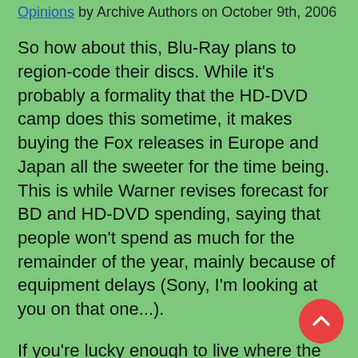Opinions by Archive Authors on October 9th, 2006
So how about this, Blu-Ray plans to region-code their discs. While it's probably a formality that the HD-DVD camp does this sometime, it makes buying the Fox releases in Europe and Japan all the sweeter for the time being. This is while Warner revises forecast for BD and HD-DVD spending, saying that people won't spend as much for the remainder of the year, mainly because of equipment delays (Sony, I'm looking at you on that one...).
If you're lucky enough to live where the Target employees aren't the brightes...